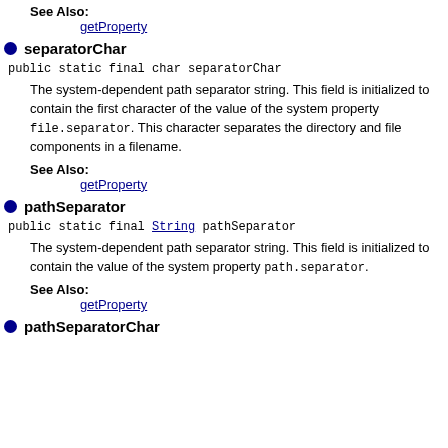See Also:
getProperty
separatorChar
public static final char separatorChar
The system-dependent path separator string. This field is initialized to contain the first character of the value of the system property file.separator. This character separates the directory and file components in a filename.
See Also:
getProperty
pathSeparator
public static final String pathSeparator
The system-dependent path separator string. This field is initialized to contain the value of the system property path.separator.
See Also:
getProperty
pathSeparatorChar